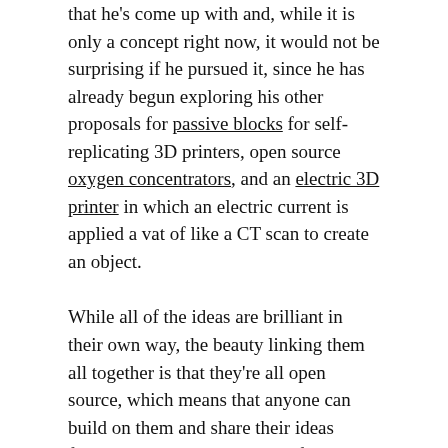that he's come up with and, while it is only a concept right now, it would not be surprising if he pursued it, since he has already begun exploring his other proposals for passive blocks for self-replicating 3D printers, open source oxygen concentrators, and an electric 3D printer in which an electric current is applied a vat of like a CT scan to create an object.
While all of the ideas are brilliant in their own way, the beauty linking them all together is that they're all open source, which means that anyone can build on them and share their ideas freely in the hopes that, even if Bowyer himself doesn't complete the task of creating a fully self-replicating 3D printer, or other project, someone else might.
The post Adrian Bowyer Continues to Innovate with Magnetic Bed Heater appeared first on 3DPrint.com | The Voice of 3D Printing / Additive Manufacturing